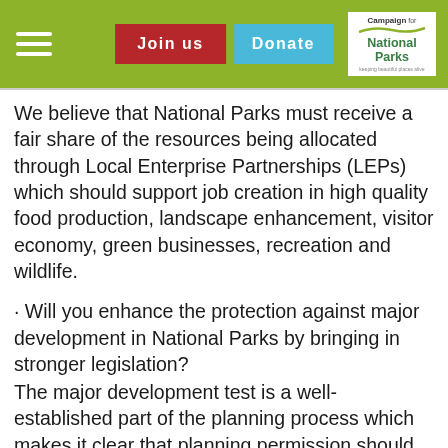Campaign for National Parks — Join us | Donate
We believe that National Parks must receive a fair share of the resources being allocated through Local Enterprise Partnerships (LEPs) which should support job creation in high quality food production, landscape enhancement, visitor economy, green businesses, recreation and wildlife.
· Will you enhance the protection against major development in National Parks by bringing in stronger legislation?
The major development test is a well-established part of the planning process which makes it clear that planning permission should be refused for major developments in National Parks except in exceptional circumstances and where it can be demonstrated they are in the public interest. We want a stronger version of this test to be included in legislation.